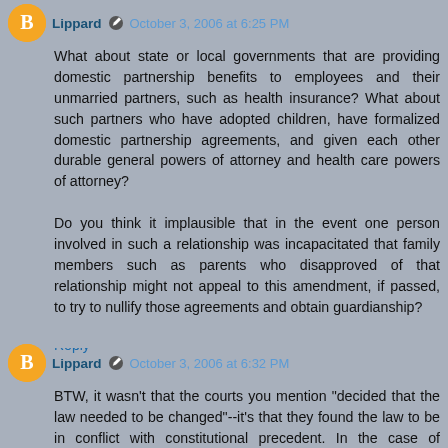Lippard — October 3, 2006 at 6:25 PM
What about state or local governments that are providing domestic partnership benefits to employees and their unmarried partners, such as health insurance? What about such partners who have adopted children, have formalized domestic partnership agreements, and given each other durable general powers of attorney and health care powers of attorney?

Do you think it implausible that in the event one person involved in such a relationship was incapacitated that family members such as parents who disapproved of that relationship might not appeal to this amendment, if passed, to try to nullify those agreements and obtain guardianship?
Reply
Lippard — October 3, 2006 at 6:32 PM
BTW, it wasn't that the courts you mention "decided that the law needed to be changed"--it's that they found the law to be in conflict with constitutional precedent. In the case of Massachusetts, the ruling in Goodridge v. Dept. of Public